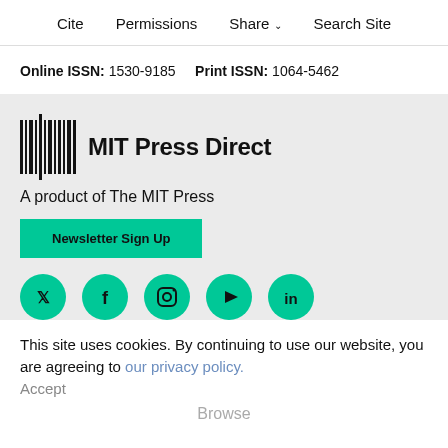Cite   Permissions   Share ▾   Search Site
Online ISSN: 1530-9185   Print ISSN: 1064-5462
[Figure (logo): MIT Press Direct logo — barcode-style vertical bars icon on left, bold text 'MIT Press Direct' on right]
A product of The MIT Press
Newsletter Sign Up
[Figure (infographic): Row of five teal circular social media icons: Twitter, Facebook, Instagram, YouTube, LinkedIn]
This site uses cookies. By continuing to use our website, you are agreeing to our privacy policy. Accept
Browse